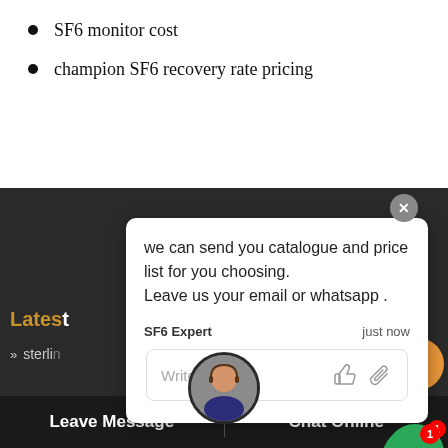SF6 monitor cost
champion SF6 recovery rate pricing
[Figure (screenshot): Website chat popup overlay on a dark-themed page showing a message from SF6 Expert saying 'we can send you catalogue and price list for you choosing. Leave us your email or whatsapp.' with a reply input box and icons.]
Latest
sterling
champion SF6 moisture analyzer formula
exquisite
attractive SF6 connector Humidity test manufacturers
excellent SF6 leak monitoring system factory
capital analizy SF6 plant price
Leave Message   Chat Online